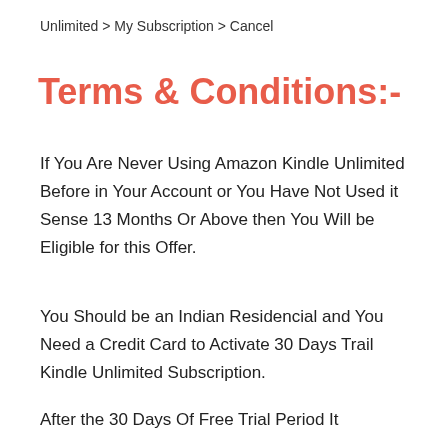Unlimited > My Subscription > Cancel
Terms & Conditions:-
If You Are Never Using Amazon Kindle Unlimited Before in Your Account or You Have Not Used it Sense 13 Months Or Above then You Will be Eligible for this Offer.
You Should be an Indian Residencial and You Need a Credit Card to Activate 30 Days Trail Kindle Unlimited Subscription.
After the 30 Days Of Free Trial Period It